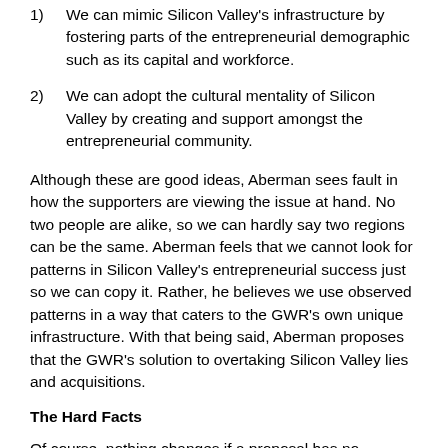1)      We can mimic Silicon Valley's infrastructure by fostering parts of the entrepreneurial demographic such as its capital and workforce.
2)      We can adopt the cultural mentality of Silicon Valley by creating and support amongst the entrepreneurial community.
Although these are good ideas, Aberman sees fault in how the supporters are viewing the issue at hand. No two people are alike, so we can hardly say two regions can be the same. Aberman feels that we cannot look for patterns in Silicon Valley's entrepreneurial success just so we can copy it. Rather, he believes we use observed patterns in a way that caters to the GWR's own unique infrastructure. With that being said, Aberman proposes that the GWR's solution to overtaking Silicon Valley lies and acquisitions.
The Hard Facts
Of course, nothing changes if a proposal has no foundation. That is why Aberman sets a convincing series of facts regarding M&A in both the GWR and Silicon Valley, specific to the Financials, Healthcare, High Technology, Industrials, Media and Entertainment, and Telecommunications industry sectors of both regions from 2007 to 2017 as evidence to his claim.
Across these technology-intensive sectors, two particular points stic